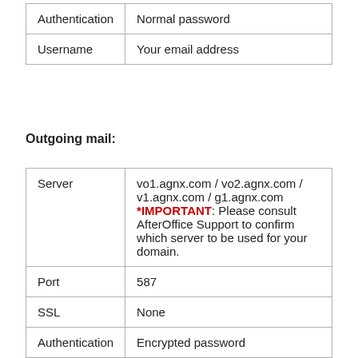| Authentication | Normal password |
| Username | Your email address |
Outgoing mail:
| Server | vo1.agnx.com / vo2.agnx.com / v1.agnx.com / g1.agnx.com *IMPORTANT: Please consult AfterOffice Support to confirm which server to be used for your domain. |
| Port | 587 |
| SSL | None |
| Authentication | Encrypted password |
| Username | Your email address |